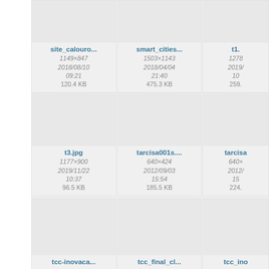[Figure (screenshot): File browser grid showing image thumbnails with filenames, dimensions, dates, and file sizes. Row 1: site_calouro... (1149×847, 2018/08/10 09:21, 120.4 KB), smart_cities... (1503×1143, 2018/04/04 21:40, 475.3 KB), t1... (1278×..., 2019/..., 259... KB). Row 2: t3.jpg (1177×900, 2019/11/22 10:37, 96.5 KB), tarcisa001s.... (640×424, 2012/09/03 15:54, 185.5 KB), tarcisa... (640×..., 2012/..., 224... ...). Row 3: tcc-inovaca... , tcc_final_cl..., tcc_ino... (partially visible).]